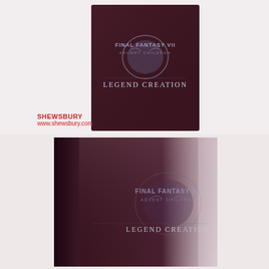[Figure (photo): Top view of a dark maroon/burgundy hardcover book titled 'Final Fantasy VII Advent Children - Legend Creation', showing the front cover with logo and text on a light background]
SHEWSBURY
www.shewsbury.com
[Figure (photo): Bottom view of the same 'Final Fantasy VII Advent Children - Legend Creation' book showing front cover and spine together at an angle, demonstrating the book's thickness and embossed design on a light background]